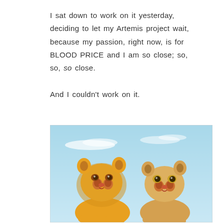I sat down to work on it yesterday, deciding to let my Artemis project wait, because my passion, right now, is for BLOOD PRICE and I am so close; so, so, so close.

And I couldn't work on it.
[Figure (illustration): Animated lion cubs from The Lion King — Simba and Nala — looking upward with worried/sad expressions against a light blue sky background.]